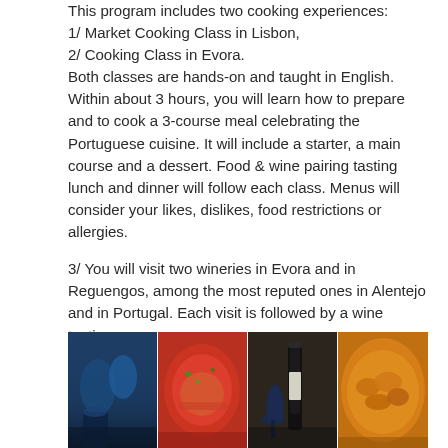This program includes two cooking experiences:
1/ Market Cooking Class in Lisbon,
2/ Cooking Class in Evora.
Both classes are hands-on and taught in English. Within about 3 hours, you will learn how to prepare and to cook a 3-course meal celebrating the Portuguese cuisine. It will include a starter, a main course and a dessert. Food & wine pairing tasting lunch and dinner will follow each class. Menus will consider your likes, dislikes, food restrictions or allergies.
3/ You will visit two wineries in Evora and in Reguengos, among the most reputed ones in Alentejo and in Portugal. Each visit is followed by a wine tasting.
[Figure (photo): Collage of four food and wine photos: blue glassware on a decorated table, a fish dish in tomato sauce with herbs, a wine bottle with a blue goblet, and a pot of golden braised food.]